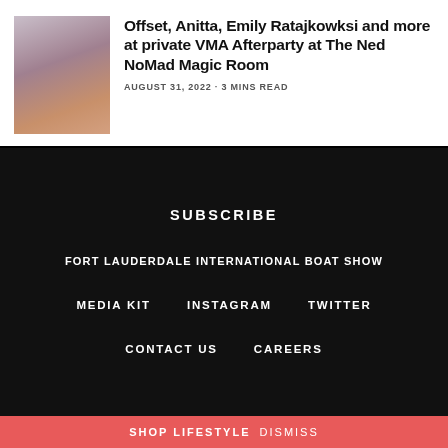[Figure (photo): Thumbnail photo of a woman with long dark hair]
Offset, Anitta, Emily Ratajkowksi and more at private VMA Afterparty at The Ned NoMad Magic Room
AUGUST 31, 2022 · 3 MINS READ
SUBSCRIBE
FORT LAUDERDALE INTERNATIONAL BOAT SHOW
MEDIA KIT   INSTAGRAM   TWITTER
CONTACT US   CAREERS
SHOP LIFESTYLE DISMISS